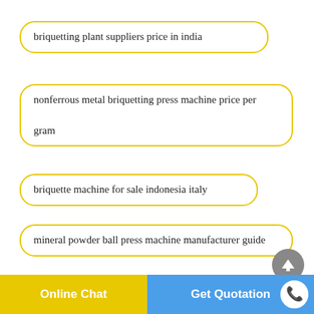briquetting plant suppliers price in india
nonferrous metal briquetting press machine price per gram
briquette machine for sale indonesia italy
mineral powder ball press machine manufacturer guide
caustic soda briquetting machine for sale pdf
Online Chat
Get Quotation